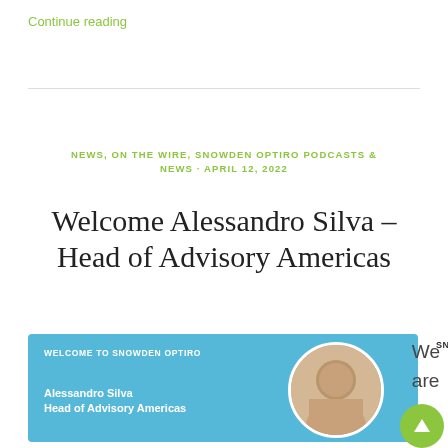Continue reading
NEWS, ON THE WIRE, SNOWDEN OPTIRO PODCASTS & NEWS · APRIL 12, 2022
Welcome Alessandro Silva – Head of Advisory Americas
[Figure (infographic): Blue welcome card with Snowden Optiro logo, photo of Alessandro Silva, text 'WELCOME TO SNOWDEN OPTIRO', 'Alessandro Silva', 'Head of Advisory Americas'. Partially visible text 'We are' on the right side and a green circular up-arrow button.]